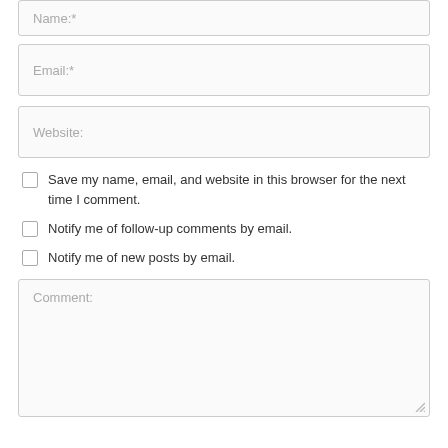Name:*
Email:*
Website:
Save my name, email, and website in this browser for the next time I comment.
Notify me of follow-up comments by email.
Notify me of new posts by email.
Comment: